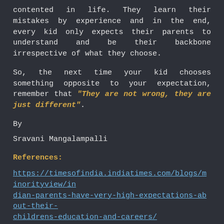contented in life. They learn their mistakes by experience and in the end, every kid only expects their parents to understand and be their backbone irrespective of what they choose.
So, the next time your kid chooses something opposite to your expectation, remember that “They are not wrong, they are just different”.
By
Sravani Mangalampalli
References:
https://timesofindia.indiatimes.com/blogs/minorityview/indian-parents-have-very-high-expectations-about-their-childrens-education-and-careers/